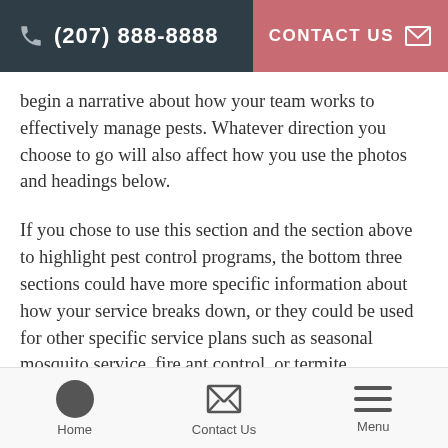(207) 888-8888   CONTACT US
begin a narrative about how your team works to effectively manage pests. Whatever direction you choose to go will also affect how you use the photos and headings below.
If you chose to use this section and the section above to highlight pest control programs, the bottom three sections could have more specific information about how your service breaks down, or they could be used for other specific service plans such as seasonal mosquito service, fire ant control, or termite protection. If you covered your
Home   Contact Us   Menu